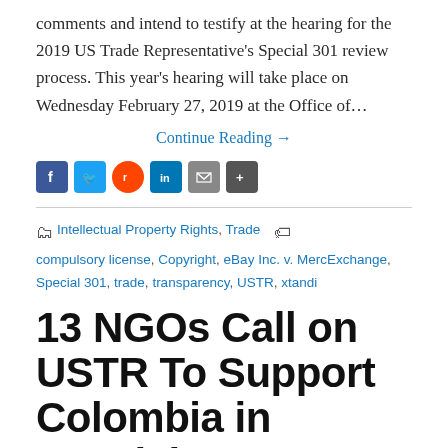comments and intend to testify at the hearing for the 2019 US Trade Representative's Special 301 review process. This year's hearing will take place on Wednesday February 27, 2019 at the Office of…
Continue Reading →
[Figure (other): Social sharing icons: Facebook, Twitter, Reddit, LinkedIn, Email, Share]
Intellectual Property Rights, Trade   compulsory license, Copyright, eBay Inc. v. MercExchange, Special 301, trade, transparency, USTR, xtandi
13 NGOs Call on USTR To Support Colombia in Special 301 Following Pressure Over